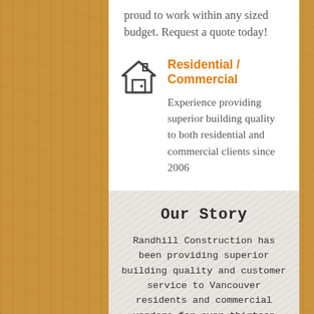proud to work within any sized budget. Request a quote today!
Residential / Commercial
Experience providing superior building quality to both residential and commercial clients since 2006
Our Story
Randhill Construction has been providing superior building quality and customer service to Vancouver residents and commercial vendors for over thirteen years. Founded in 2006 by Randy Montroy, Randhill Construction has developed into